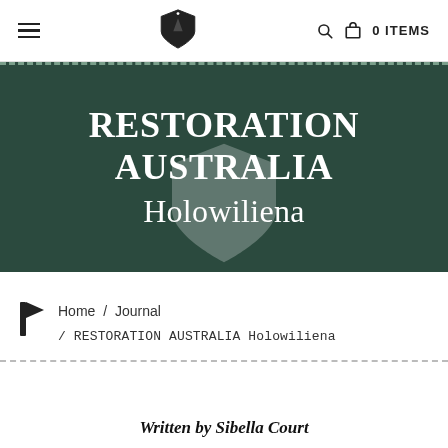≡  [shield logo]  🔍  🛒  0 ITEMS
RESTORATION AUSTRALIA Holowiliena
Home / Journal / RESTORATION AUSTRALIA Holowiliena
Written by Sibella Court